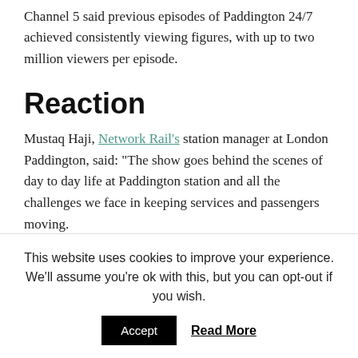Channel 5 said previous episodes of Paddington 24/7 achieved consistently viewing figures, with up to two million viewers per episode.
Reaction
Mustaq Haji, Network Rail's station manager at London Paddington, said: “The show goes behind the scenes of day to day life at Paddington station and all the challenges we face in keeping services and passengers moving.
This website uses cookies to improve your experience. We'll assume you're ok with this, but you can opt-out if you wish.